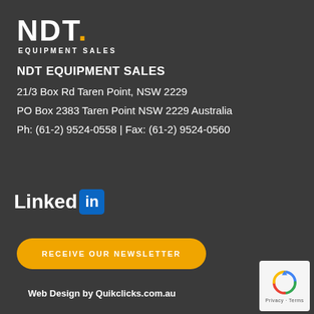[Figure (logo): NDT Equipment Sales logo — bold white uppercase letters 'NDT.' with an orange period, and 'EQUIPMENT SALES' in small caps below]
NDT EQUIPMENT SALES
21/3 Box Rd Taren Point, NSW 2229
PO Box 2383 Taren Point NSW 2229 Australia
Ph: (61-2) 9524-0558 | Fax: (61-2) 9524-0560
[Figure (logo): LinkedIn logo — white bold 'Linked' text followed by 'in' in white on a blue rounded square]
RECEIVE OUR NEWSLETTER
Web Design by Quikclicks.com.au
[Figure (logo): reCAPTCHA badge with blue recycling arrow icon and 'Privacy - Terms' text below on white background]